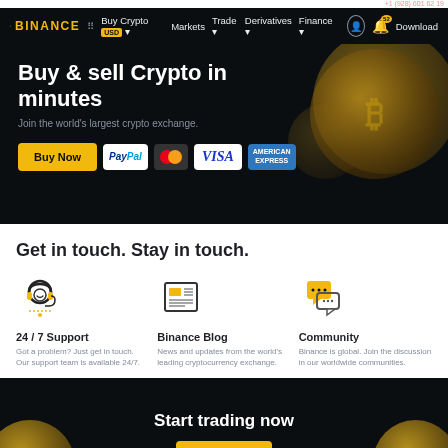Binance — Buy Crypto USD  Markets  Trade  Derivatives  Finance  Download
Buy & sell Crypto in minutes
Join the world's largest crypto exchange.
[Figure (screenshot): Buy Now button with PayPal, Mastercard, VISA, and American Express payment badges]
Get in touch. Stay in touch.
[Figure (illustration): Headset icon for 24/7 Support]
24 / 7 Support
Got a problem? Just get in touch. Our support team is available 24/7.
[Figure (illustration): Newspaper icon for Binance Blog]
Binance Blog
News and updates from the world's leading cryptocurrency exchange.
[Figure (illustration): Chat bubbles icon for Community]
Community
Binance is global. Join the discussion in our worldwide communities.
Start trading now
[Figure (illustration): Trade Now button with Bitcoin coin decorations]